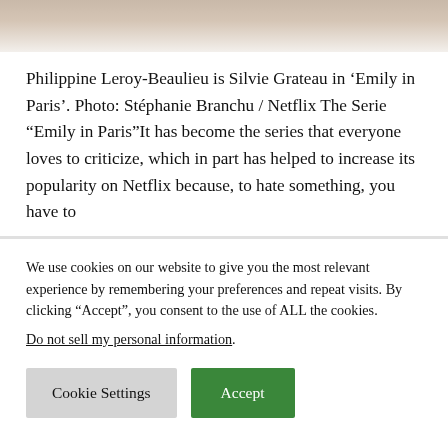[Figure (photo): Bottom portion of a photo showing two people, cropped at top, neutral/skin tones visible]
Philippine Leroy-Beaulieu is Silvie Grateau in 'Emily in Paris'. Photo: Stéphanie Branchu / Netflix The Serie “Emily in Paris”It has become the series that everyone loves to criticize, which in part has helped to increase its popularity on Netflix because, to hate something, you have to
We use cookies on our website to give you the most relevant experience by remembering your preferences and repeat visits. By clicking “Accept”, you consent to the use of ALL the cookies.
Do not sell my personal information.